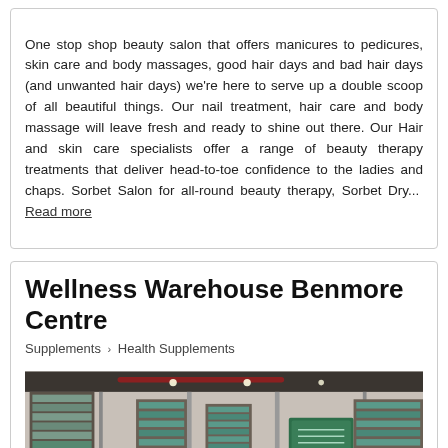One stop shop beauty salon that offers manicures to pedicures, skin care and body massages, good hair days and bad hair days (and unwanted hair days) we're here to serve up a double scoop of all beautiful things. Our nail treatment, hair care and body massage will leave fresh and ready to shine out there. Our Hair and skin care specialists offer a range of beauty therapy treatments that deliver head-to-toe confidence to the ladies and chaps. Sorbet Salon for all-round beauty therapy, Sorbet Dry... Read more
Wellness Warehouse Benmore Centre
Supplements > Health Supplements
[Figure (photo): Interior photo of Wellness Warehouse store showing shelves stocked with health supplements and products, viewed through glass doors]
Grayston Drive, Benmore 2196, Gauteng
5-10 km from Witkoppen